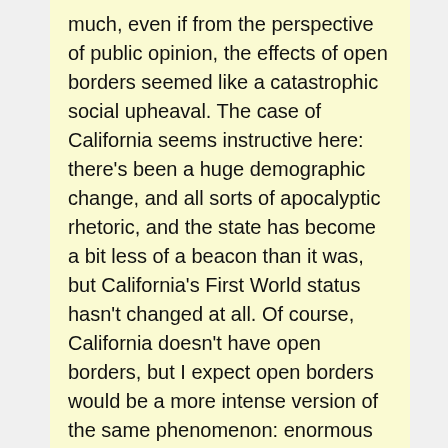much, even if from the perspective of public opinion, the effects of open borders seemed like a catastrophic social upheaval. The case of California seems instructive here: there's been a huge demographic change, and all sorts of apocalyptic rhetoric, and the state has become a bit less of a beacon than it was, but California's First World status hasn't changed at all. Of course, California doesn't have open borders, but I expect open borders would be a more intense version of the same phenomenon: enormous perceived social upheaval, but no general fall in living standards for natives. It depends a lot on how it's